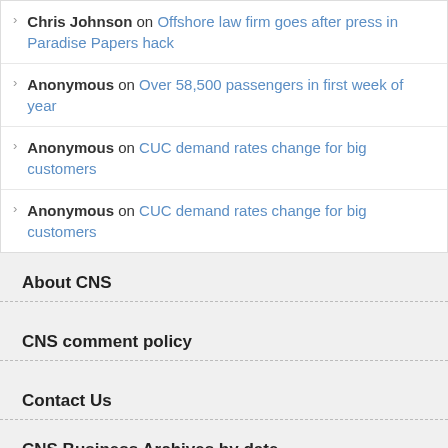Chris Johnson on Offshore law firm goes after press in Paradise Papers hack
Anonymous on Over 58,500 passengers in first week of year
Anonymous on CUC demand rates change for big customers
Anonymous on CUC demand rates change for big customers
About CNS
CNS comment policy
Contact Us
CNS Business Archives by date
November 2015
| M | T | W | T | F | S | S |
| --- | --- | --- | --- | --- | --- | --- |